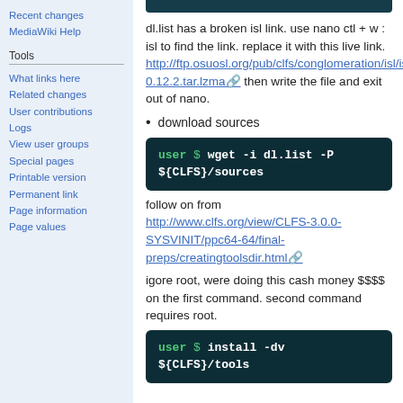Recent changes
MediaWiki Help
Tools
What links here
Related changes
User contributions
Logs
View user groups
Special pages
Printable version
Permanent link
Page information
Page values
dl.list has a broken isl link. use nano ctl + w : isl to find the link. replace it with this live link. http://ftp.osuosl.org/pub/clfs/conglomeration/isl/isl-0.12.2.tar.lzma then write the file and exit out of nano.
download sources
[Figure (screenshot): Code block showing: user $ wget -i dl.list -P ${CLFS}/sources]
follow on from http://www.clfs.org/view/CLFS-3.0.0-SYSVINIT/ppc64-64/final-preps/creatingtoolsdir.html
igore root, were doing this cash money $$$$ on the first command. second command requires root.
[Figure (screenshot): Code block showing: user $ install -dv ${CLFS}/tools]